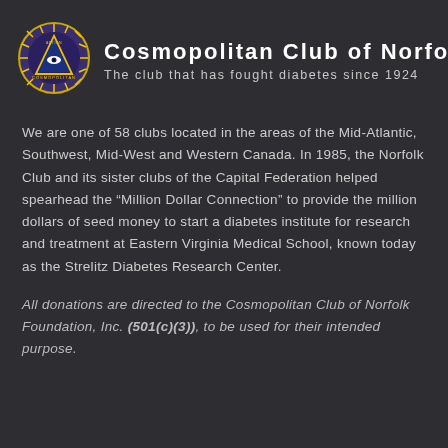[Figure (logo): Cosmopolitan International circular logo with blue/purple background, gold sunburst border, triangle with eye symbol in center]
Cosmopolitan Club of Norfolk
The club that has fought diabetes since 1924
We are one of 58 clubs located in the areas of the Mid-Atlantic, Southwest, Mid-West and Western Canada. In 1985, the Norfolk Club and its sister clubs of the Capital Federation helped spearhead the “Million Dollar Connection” to provide the million dollars of seed money to start a diabetes institute for research and treatment at Eastern Virginia Medical School, known today as the Strelitz Diabetes Research Center.
All donations are directed to the Cosmopolitan Club of Norfolk Foundation, Inc. (501(c)(3)), to be used for their intended purpose.